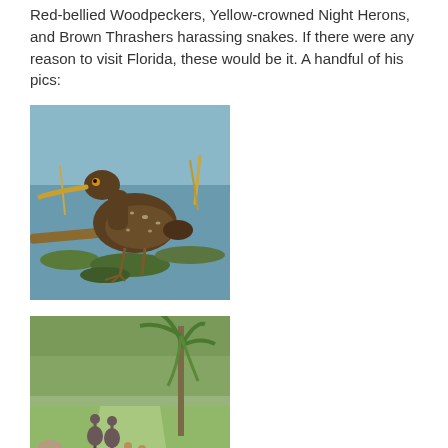Red-bellied Woodpeckers, Yellow-crowned Night Herons, and Brown Thrashers harassing snakes. If there were any reason to visit Florida, these would be it. A handful of his pics:
[Figure (photo): A large brown speckled wading bird (Limpkin) standing in shallow water among aquatic vegetation and lily pads, with a long bill, photographed in Florida.]
[Figure (photo): Several Sandhill Cranes with chicks walking along a grassy path with palm trees and trees in the background, photographed in Florida.]